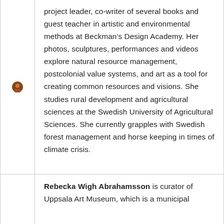project leader, co-writer of several books and guest teacher in artistic and environmental methods at Beckman's Design Academy. Her photos, sculptures, performances and videos explore natural resource management, postcolonial value systems, and art as a tool for creating common resources and visions. She studies rural development and agricultural sciences at the Swedish University of Agricultural Sciences. She currently grapples with Swedish forest management and horse keeping in times of climate crisis.
Rebecka Wigh Abrahamsson is curator of Uppsala Art Museum, which is a municipal